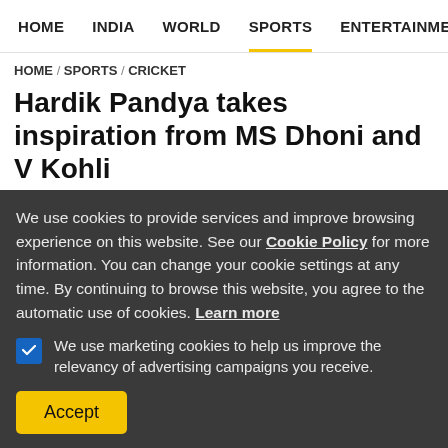HOME  INDIA  WORLD  SPORTS  ENTERTAINMENT  A
HOME / SPORTS / CRICKET
Hardik Pandya takes inspiration from MS Dhoni and V Kohli
NH Bureau / Wednesday, 26 October 2016 08:46:56 AM
[Figure (other): Social share buttons: Facebook, Twitter, Reddit, Flipboard, Email, WhatsApp]
We use cookies to provide services and improve browsing experience on this website. See our Cookie Policy for more information. You can change your cookie settings at any time. By continuing to browse this website, you agree to the automatic use of cookies. Learn more
We use marketing cookies to help us improve the relevancy of advertising campaigns you receive.
Accept